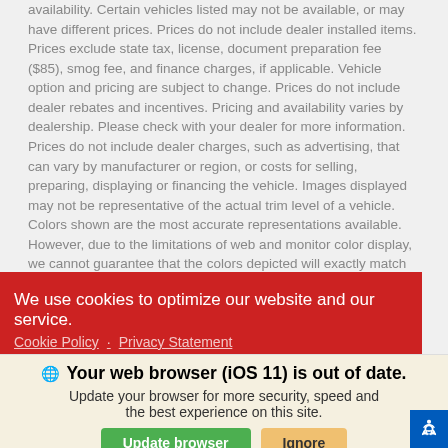availability. Certain vehicles listed may not be available, or may have different prices. Prices do not include dealer installed items. Prices exclude state tax, license, document preparation fee ($85), smog fee, and finance charges, if applicable. Vehicle option and pricing are subject to change. Prices do not include dealer rebates and incentives. Pricing and availability varies by dealership. Please check with your dealer for more information. Prices do not include dealer charges, such as advertising, that can vary by manufacturer or region, or costs for selling, preparing, displaying or financing the vehicle. Images displayed may not be representative of the actual trim level of a vehicle. Colors shown are the most accurate representations available. However, due to the limitations of web and monitor color display, we cannot guarantee that the colors depicted will exactly match the color of the car.
We use cookies to optimize our website and our service.
Cookie Policy · Privacy Statement
Your web browser (iOS 11) is out of date. Update your browser for more security, speed and the best experience on this site.